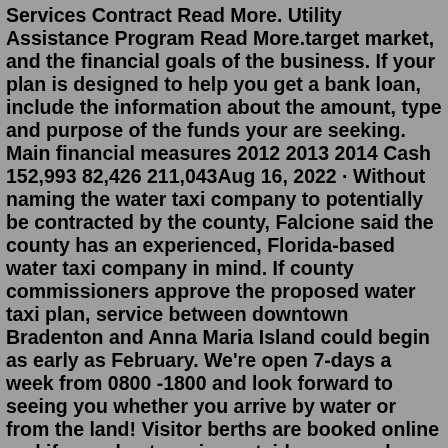Services Contract Read More. Utility Assistance Program Read More.target market, and the financial goals of the business. If your plan is designed to help you get a bank loan, include the information about the amount, type and purpose of the funds your are seeking. Main financial measures 2012 2013 2014 Cash 152,993 82,426 211,043Aug 16, 2022 · Without naming the water taxi company to potentially be contracted by the county, Falcione said the county has an experienced, Florida-based water taxi company in mind. If county commissioners approve the proposed water taxi plan, service between downtown Bradenton and Anna Maria Island could begin as early as February. We're open 7-days a week from 0800 -1800 and look forward to seeing you whether you arrive by water or from the land! Visitor berths are booked online and if you plan to arrive outside our regular hours, please contact the Berthing Team in advance for berthing instructions, and the shower/toilet facilities code - phone 01983 872828 ext 1 or email: mail@hembridgeharbour.co.uk.You want